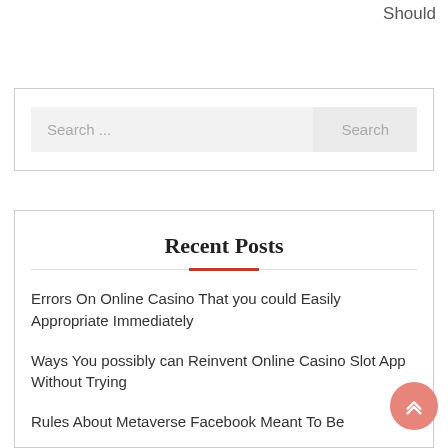Should
Search ...
Search
Recent Posts
Errors On Online Casino That you could Easily Appropriate Immediately
Ways You possibly can Reinvent Online Casino Slot App Without Trying
Rules About Metaverse Facebook Meant To Be